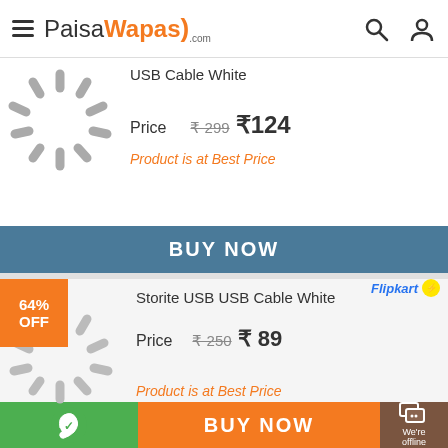PaisaWapas.com
USB Cable White
Price  ₹299  ₹124
Product is at Best Price
BUY NOW
64% OFF
Flipkart
Storite USB USB Cable White
Price  ₹250  ₹89
Product is at Best Price
BUY NOW
BUY NOW